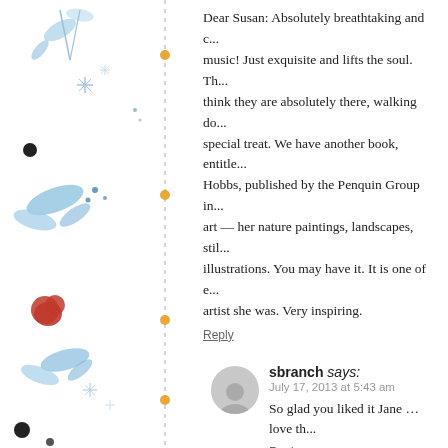[Figure (illustration): Decorative watercolor-style illustration on left sidebar with blue floral/botanical motifs, orange dots on a vertical dashed line, black dots, and a red berry element]
Dear Susan: Absolutely breathtaking and c... music! Just exquisite and lifts the soul. Th... think they are absolutely there, walking do... special treat. We have another book, entitle... Hobbs, published by the Penquin Group in... art — her nature paintings, landscapes, stil... illustrations. You may have it. It is one of e... artist she was. Very inspiring.
Reply
sbranch says:
July 17, 2013 at 5:43 am
So glad you liked it Jane … love th...
Reply
Paula Cutchey says:
July 18, 2013 at 9:57 am